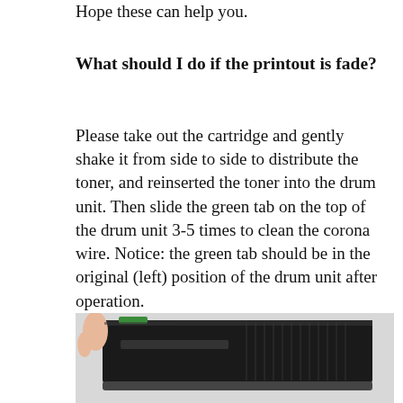Hope these can help you.
What should I do if the printout is fade?
Please take out the cartridge and gently shake it from side to side to distribute the toner, and reinserted the toner into the drum unit. Then slide the green tab on the top of the drum unit 3-5 times to clean the corona wire. Notice: the green tab should be in the original (left) position of the drum unit after operation.
[Figure (photo): A hand operating a green tab on a black printer drum unit/cartridge, showing the green sliding tab on top of the drum unit.]